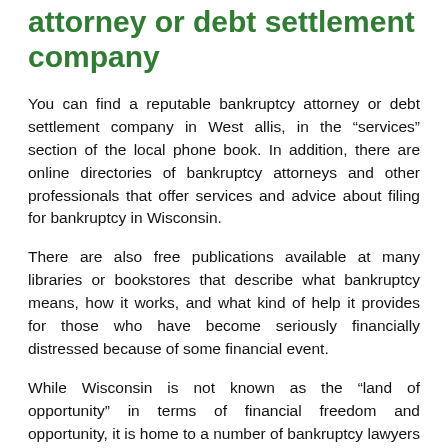attorney or debt settlement company
You can find a reputable bankruptcy attorney or debt settlement company in West allis, in the “services” section of the local phone book. In addition, there are online directories of bankruptcy attorneys and other professionals that offer services and advice about filing for bankruptcy in Wisconsin.
There are also free publications available at many libraries or bookstores that describe what bankruptcy means, how it works, and what kind of help it provides for those who have become seriously financially distressed because of some financial event.
While Wisconsin is not known as the “land of opportunity” in terms of financial freedom and opportunity, it is home to a number of bankruptcy lawyers and other professionals who can give you good advice about filing for bankruptcy in West Allis.